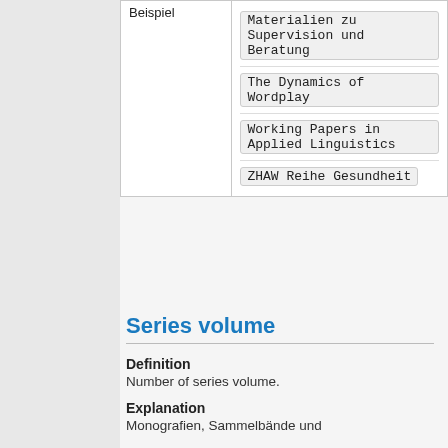|  |  |
| --- | --- |
| Beispiel | Materialien zu Supervision und Beratung
The Dynamics of Wordplay
Working Papers in Applied Linguistics
ZHAW Reihe Gesundheit |
Series volume
Definition
Number of series volume.
Explanation
Monografien, Sammelbände und